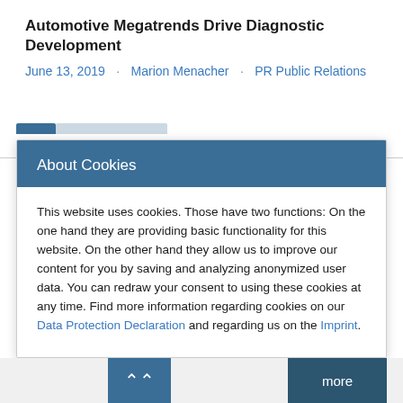Automotive Megatrends Drive Diagnostic Development
June 13, 2019 · Marion Menacher · PR Public Relations
About Cookies
This website uses cookies. Those have two functions: On the one hand they are providing basic functionality for this website. On the other hand they allow us to improve our content for you by saving and analyzing anonymized user data. You can redraw your consent to using these cookies at any time. Find more information regarding cookies on our Data Protection Declaration and regarding us on the Imprint.
Settings +
Save
Accept all cookies
more